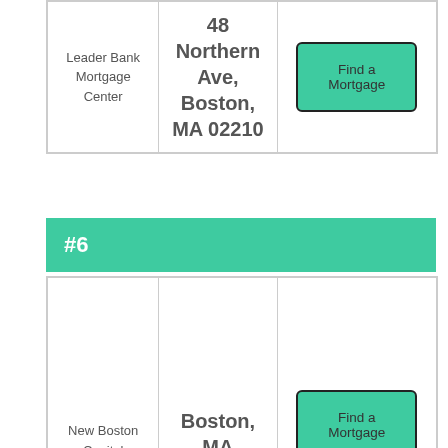| Name | Address | Action |
| --- | --- | --- |
| Leader Bank Mortgage Center | 48 Northern Ave, Boston, MA 02210 | Find a Mortgage |
#6
| Name | Address | Action |
| --- | --- | --- |
| New Boston Capital | Boston, MA | Find a Mortgage |